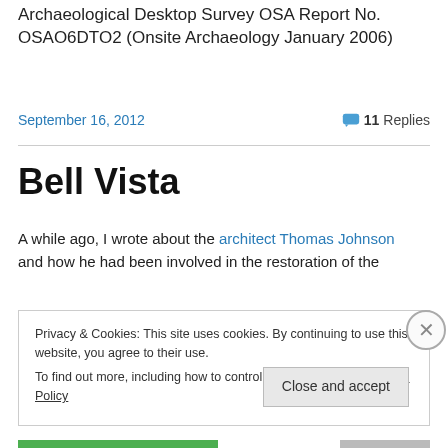Archaeological Desktop Survey OSA Report No. OSAO6DTO2 (Onsite Archaeology January 2006)
September 16, 2012
11 Replies
Bell Vista
A while ago, I wrote about the architect Thomas Johnson and how he had been involved in the restoration of the
Privacy & Cookies: This site uses cookies. By continuing to use this website, you agree to their use.
To find out more, including how to control cookies, see here: Cookie Policy
Close and accept